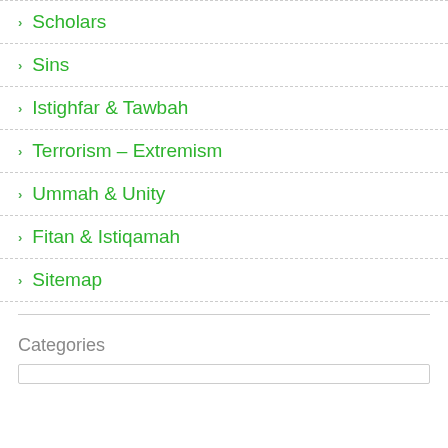Scholars
Sins
Istighfar & Tawbah
Terrorism – Extremism
Ummah & Unity
Fitan & Istiqamah
Sitemap
Categories